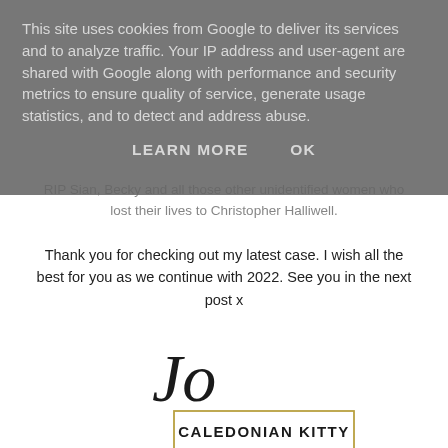This site uses cookies from Google to deliver its services and to analyze traffic. Your IP address and user-agent are shared with Google along with performance and security metrics to ensure quality of service, generate usage statistics, and to detect and address abuse.
LEARN MORE   OK
RIP Sian, Becky and all those other unidentified women who lost their lives to Christopher Halliwell.
Thank you for checking out my latest case. I wish all the best for you as we continue with 2022. See you in the next post x
[Figure (logo): Jo Caledonian Kitty signature logo with cursive 'Jo' above and 'CALEDONIAN KITTY' in a gold-bordered box]